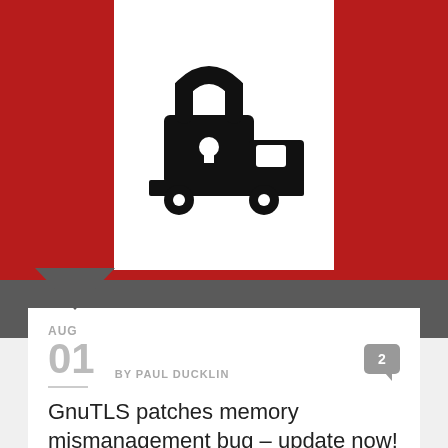[Figure (illustration): Red banner background with a white rectangular card in the center containing a black icon of a delivery truck with a padlock on it (representing secure delivery/encryption). A downward-pointing chevron notch is visible at the bottom left of the red area.]
AUG
01  BY PAUL DUCKLIN
GnuTLS patches memory mismanagement bug – update now!
[Figure (logo): SOPHOS logo in bold blue text with a downward-pointing blue arrow beneath it, on a light grey background.]